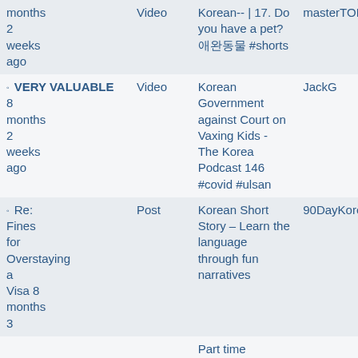| Title/Date | Type | Link | Channel |
| --- | --- | --- | --- |
| months 2 weeks ago | Video | Korean-- | 17. Do you have a pet? 애완동물 #shorts | masterTOPIK |
| VERY VALUABLE 8 months 2 weeks ago | Video | Korean Government against Court on Vaxing Kids - The Korea Podcast 146 #covid #ulsan | JackG |
| Re: Fines for Overstaying a Visa 8 months 3 ... | Post | Korean Short Story – Learn the language through fun narratives | 90DayKorean |
|  |  | Part time |  |